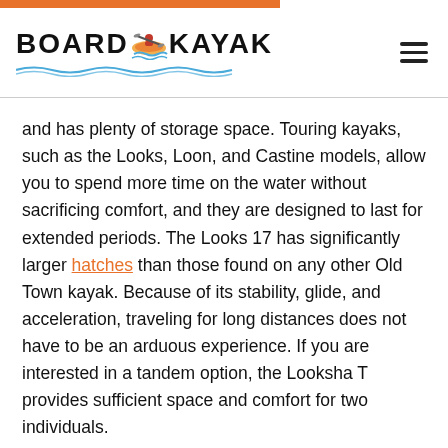BOARD & KAYAK
and has plenty of storage space. Touring kayaks, such as the Looks, Loon, and Castine models, allow you to spend more time on the water without sacrificing comfort, and they are designed to last for extended periods. The Looks 17 has significantly larger hatches than those found on any other Old Town kayak. Because of its stability, glide, and acceleration, traveling for long distances does not have to be an arduous experience. If you are interested in a tandem option, the Looksha T provides sufficient space and comfort for two individuals.
The Loon 126 is an excellent choice for extended journeys. The newly redesigned hull achieves the optimal balance of glide and tracking performance.